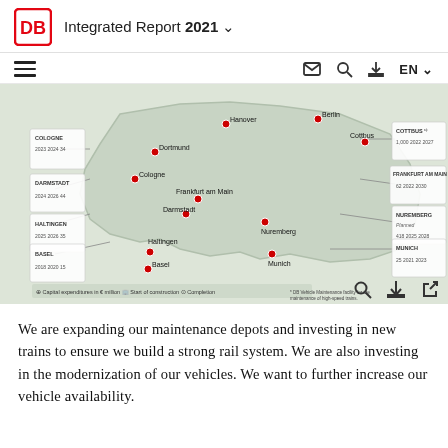DB Integrated Report 2021
[Figure (map): Map of Germany showing DB maintenance depot locations: Cologne, Darmstadt, Haltingen, Basel, Dortmund, Cologne, Frankfurt am Main, Darmstadt, Hanover, Berlin, Cottbus, Frankfurt am Main, Nuremberg, Munich, Haltingen, Basel. Each location shows capital expenditures in million euros, start of construction, and completion years. Key cities marked with red dots include Cologne, Dortmund, Hanover, Berlin, Cottbus, Frankfurt am Main, Darmstadt, Nuremberg, Munich, Haltingen, Basel. Legend shows: Capital expenditures in million, Start of construction, Completion. Footnote: DB Vehicle Maintenance facility for the maintenance of high-speed trains.]
We are expanding our maintenance depots and investing in new trains to ensure we build a strong rail system. We are also investing in the modernization of our vehicles. We want to further increase our vehicle availability.